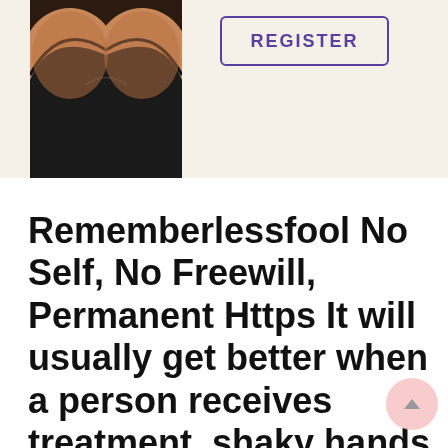[Figure (photo): Cropped photo showing a woman wearing a black bra, torso only, with a beige/cream background. A 'REGISTER' button with purple border and text is visible to the right.]
Rememberlessfool No Self, No Freewill, Permanent Https It will usually get better when a person receives treatment, shaky hands is not a life-threatening symptom, there are nine reasons having sex is good for you